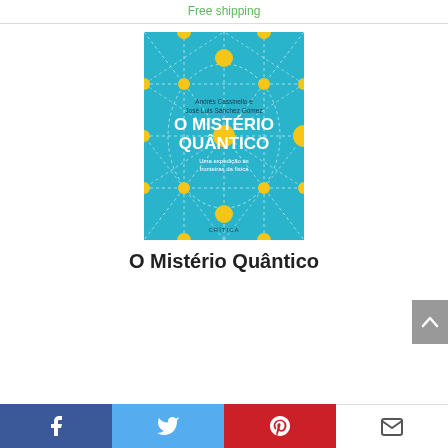Free shipping
[Figure (illustration): Book cover of 'O Mistério Quântico' — turquoise/teal background with white dotted geometric pattern of interconnected diamonds and circles; yellow circular nodes at intersections; authors Andrés Cassinello e José Luis Sánchez Gómez; subtitle 'Uma expedição às fronteiras da física'; publisher CRÍTICA]
O Mistério Quântico